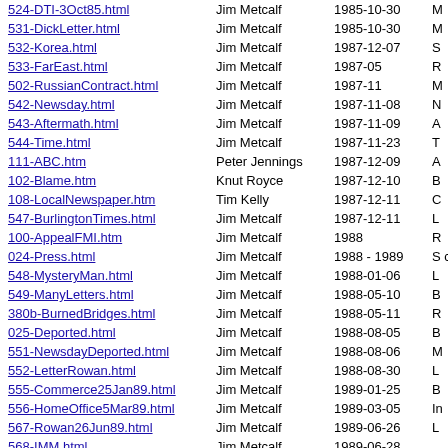| Filename | Author | Date | Description |
| --- | --- | --- | --- |
| 524-DTI-3Oct85.html | Jim Metcalf | 1985-10-30 | M |
| 531-DickLetter.html | Jim Metcalf | 1985-10-30 | M |
| 532-Korea.html | Jim Metcalf | 1987-12-07 | S |
| 533-FarEast.html | Jim Metcalf | 1987-05 | R |
| 502-RussianContract.html | Jim Metcalf | 1987-11 | M |
| 542-Newsday.html | Jim Metcalf | 1987-11-08 | N |
| 543-Aftermath.html | Jim Metcalf | 1987-11-09 | A |
| 544-Time.html | Jim Metcalf | 1987-11-23 | T |
| 111-ABC.htm | Peter Jennings | 1987-12-09 | A |
| 102-Blame.htm | Knut Royce | 1987-12-10 | B |
| 108-LocalNewspaper.htm | Tim Kelly | 1987-12-11 | C |
| 547-BurlingtonTimes.html | Jim Metcalf | 1987-12-11 | L |
| 100-AppealFMI.htm | Jim Metcalf | 1988 | R |
| 024-Press.html | Jim Metcalf | 1988 - 1989 | S c |
| 548-MysteryMan.html | Jim Metcalf | 1988-01-06 | L |
| 549-ManyLetters.html | Jim Metcalf | 1988-05-10 | B |
| 380b-BurnedBridges.html | Jim Metcalf | 1988-05-11 | R |
| 025-Deported.html | Jim Metcalf | 1988-08-05 | B |
| 551-NewsdayDeported.html | Jim Metcalf | 1988-08-06 | M |
| 552-LetterRowan.html | Jim Metcalf | 1988-08-30 | L |
| 555-Commerce25Jan89.html | Jim Metcalf | 1989-01-25 | B |
| 556-HomeOffice5Mar89.html | Jim Metcalf | 1989-03-05 | In |
| 567-Rowan26Jun89.html | Jim Metcalf | 1989-06-26 | L |
| 568-IMM.html | Jim Metcalf | 1989-06-28 |  |
| 569-Letter-to-Roberts.html | Jim Metcalf | 1989-07-11 |  |
|  | Jim Metcalf | 1989 |  |